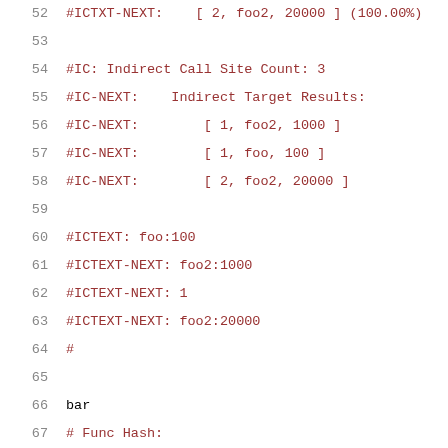52  #ICTXT-NEXT:    [ 2, foo2, 20000 ] (100.00%)
53
54  #IC: Indirect Call Site Count: 3
55  #IC-NEXT:    Indirect Target Results:
56  #IC-NEXT:        [ 1, foo2, 1000 ]
57  #IC-NEXT:        [ 1, foo, 100 ]
58  #IC-NEXT:        [ 2, foo2, 20000 ]
59
60  #ICTEXT: foo:100
61  #ICTEXT-NEXT: foo2:1000
62  #ICTEXT-NEXT: 1
63  #ICTEXT-NEXT: foo2:20000
64  #
65
66  bar
67  # Func Hash:
68  10
69  # Num Counters:
70  2
71  # Counter Values:
72  999000